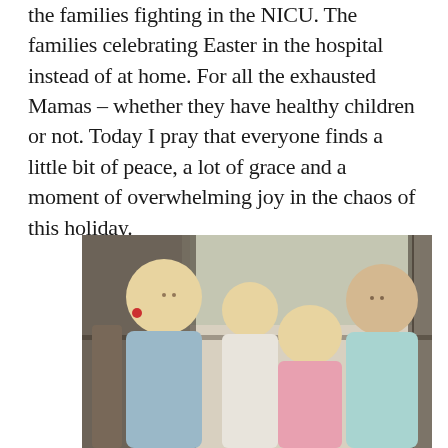the families fighting in the NICU. The families celebrating Easter in the hospital instead of at home. For all the exhausted Mamas – whether they have healthy children or not. Today I pray that everyone finds a little bit of peace, a lot of grace and a moment of overwhelming joy in the chaos of this holiday.
[Figure (photo): A family photo showing a woman with blonde hair and red earrings, two young blonde girls, and a man in a light blue striped polo shirt, posed together indoors near large windows.]